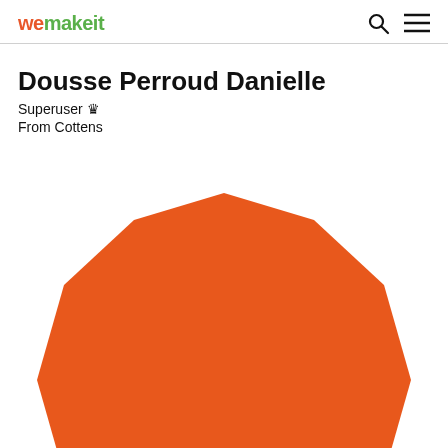wemakeit
Dousse Perroud Danielle
Superuser 👑
From Cottens
[Figure (illustration): Large orange dodecagon (12-sided polygon) used as a user avatar/profile image, partially cropped at the bottom of the page. The shape is a bold orange color (#E85B1A).]